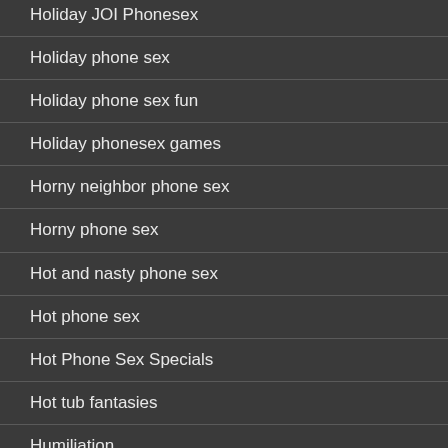Holiday JOI Phonesex
Holiday phone sex
Holiday phone sex fun
Holiday phonesex games
Horny neighbor phone sex
Horny phone sex
Hot and nasty phone sex
Hot phone sex
Hot Phone Sex Specials
Hot tub fantasies
Humiliation